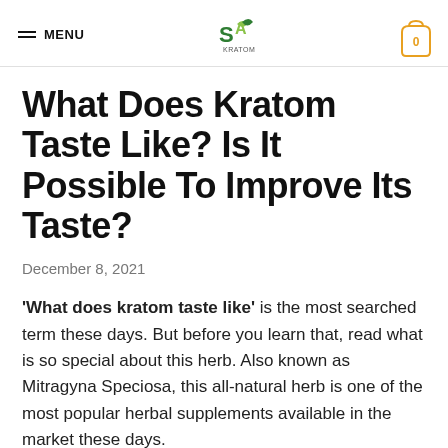MENU | SA Kratom logo | 0
What Does Kratom Taste Like? Is It Possible To Improve Its Taste?
December 8, 2021
'What does kratom taste like' is the most searched term these days. But before you learn that, read what is so special about this herb. Also known as Mitragyna Speciosa, this all-natural herb is one of the most popular herbal supplements available in the market these days.